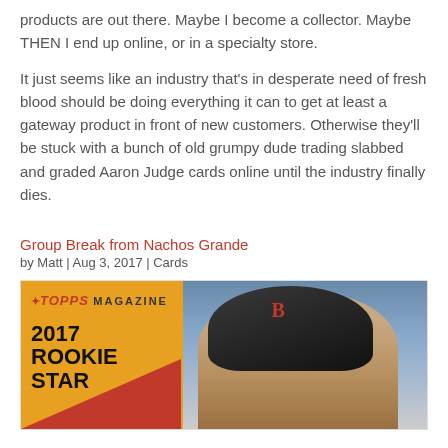products are out there. Maybe I become a collector. Maybe THEN I end up online, or in a specialty store.
It just seems like an industry that’s in desperate need of fresh blood should be doing everything it can to get at least a gateway product in front of new customers. Otherwise they’ll be stuck with a bunch of old grumpy dude trading slabbed and graded Aaron Judge cards online until the industry finally dies.
Group Break from Nachos Grande
by Matt | Aug 3, 2017 | Cards
[Figure (photo): A Topps Magazine 2017 Rookie Star trading card featuring a baseball player wearing a Boston Red Sox (B) helmet, photographed close-up. The card has an orange and red background on the left with the text '*TOPPS MAGAZINE 2017 ROOKIE STAR' in bold black text.]